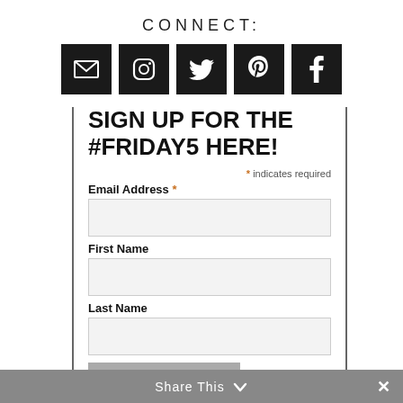CONNECT:
[Figure (illustration): Five social media icon buttons (email, Instagram, Twitter, Pinterest, Facebook) on black square backgrounds]
SIGN UP FOR THE #FRIDAY5 HERE!
* indicates required
Email Address *
First Name
Last Name
SUBSCRIBE
Share This ✓  ✕